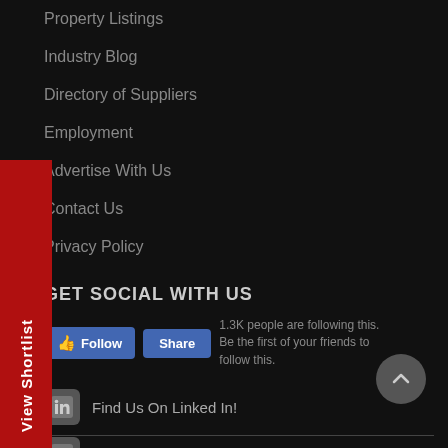Property Listings
Industry Blog
Directory of Suppliers
Employment
Advertise With Us
Contact Us
Privacy Policy
GET SOCIAL WITH US
[Figure (screenshot): Facebook Follow and Share buttons with caption '1.3K people are following this. Be the first of your friends to follow this.']
Find Us On Linked In!
Follow Us On Facebook!
Read Our Blog